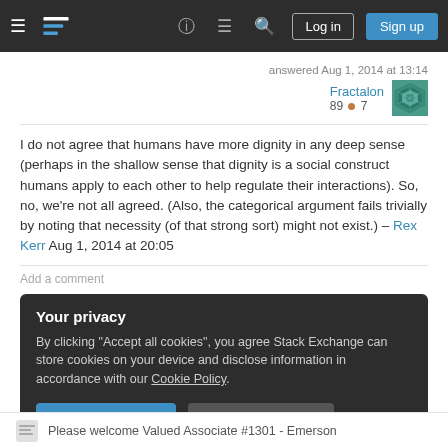[Figure (screenshot): Stack Exchange navigation bar with hamburger menu, logo, help, chat, search icons, Log in and Sign up buttons]
answered Aug 1, 2014 at 13:14
Fractalon 89 ● 7
I do not agree that humans have more dignity in any deep sense (perhaps in the shallow sense that dignity is a social construct humans apply to each other to help regulate their interactions). So, no, we're not all agreed. (Also, the categorical argument fails trivially by noting that necessity (of that strong sort) might not exist.) – Rex Kerr Aug 1, 2014 at 20:05
Add a comment
Your privacy
By clicking "Accept all cookies", you agree Stack Exchange can store cookies on your device and disclose information in accordance with our Cookie Policy.
Accept all cookies
Customize settings
Please welcome Valued Associate #1301 - Emerson